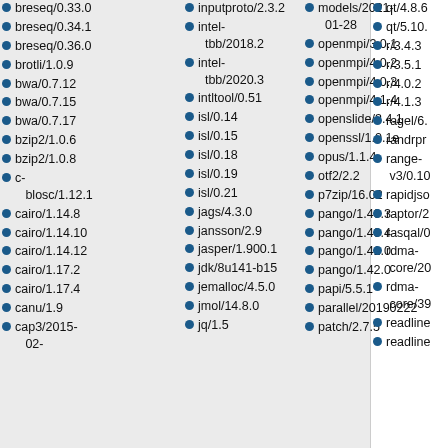breseq/0.33.0
breseq/0.34.1
breseq/0.36.0
brotli/1.0.9
bwa/0.7.12
bwa/0.7.15
bwa/0.7.17
bzip2/1.0.6
bzip2/1.0.8
c-blosc/1.12.1
cairo/1.14.8
cairo/1.14.10
cairo/1.14.12
cairo/1.17.2
cairo/1.17.4
canu/1.9
cap3/2015-02-
inputproto/2.3.2
intel-tbb/2018.2
intel-tbb/2020.3
intltool/0.51
isl/0.14
isl/0.15
isl/0.18
isl/0.19
isl/0.21
jags/4.3.0
jansson/2.9
jasper/1.900.1
jdk/8u141-b15
jemalloc/4.5.0
jmol/14.8.0
jq/1.5
models/2021-01-28
openmpi/3.0.1
openmpi/4.0.2
openmpi/4.0.3
openmpi/4.1.4
openslide/3.4.1
openssl/1.0.1e
opus/1.1.4
otf2/2.2
p7zip/16.02
pango/1.40.3
pango/1.40.4
pango/1.41.0
pango/1.42.0
papi/5.5.1
parallel/20190222
patch/2.7.5
qt/4.8.6
qt/5.10.
r/3.4.3
r/3.5.1
r/4.0.2
r/4.1.3
ragel/6.
randrproto
range-v3/0.10
rapidjson
raptor/2
rasqal/0
rdma-core/20
rdma-core/39
readline
readline